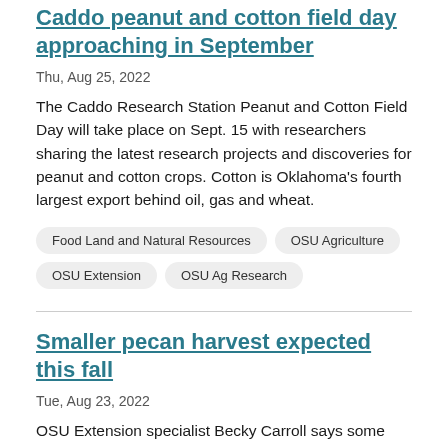Caddo peanut and cotton field day approaching in September
Thu, Aug 25, 2022
The Caddo Research Station Peanut and Cotton Field Day will take place on Sept. 15 with researchers sharing the latest research projects and discoveries for peanut and cotton crops. Cotton is Oklahoma's fourth largest export behind oil, gas and wheat.
Food Land and Natural Resources
OSU Agriculture
OSU Extension
OSU Ag Research
Smaller pecan harvest expected this fall
Tue, Aug 23, 2022
OSU Extension specialist Becky Carroll says some native pecan orchards could produce a sparse harvest